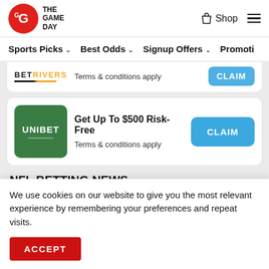The Game Day — Shop | Navigation: Sports Picks, Best Odds, Signup Offers, Promotions
BETRIVERS  Terms & conditions apply  CLAIM
Get Up To $500 Risk-Free  Terms & conditions apply  CLAIM
NFL BETTING NEWS
We use cookies on our website to give you the most relevant experience by remembering your preferences and repeat visits.
ACCEPT